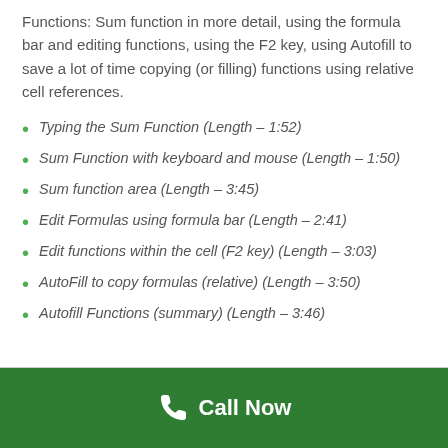Functions: Sum function in more detail, using the formula bar and editing functions, using the F2 key, using Autofill to save a lot of time copying (or filling) functions using relative cell references.
Typing the Sum Function (Length – 1:52)
Sum Function with keyboard and mouse (Length – 1:50)
Sum function area (Length – 3:45)
Edit Formulas using formula bar (Length – 2:41)
Edit functions within the cell (F2 key) (Length – 3:03)
AutoFill to copy formulas (relative) (Length – 3:50)
Autofill Functions (summary) (Length – 3:46)
Call Now